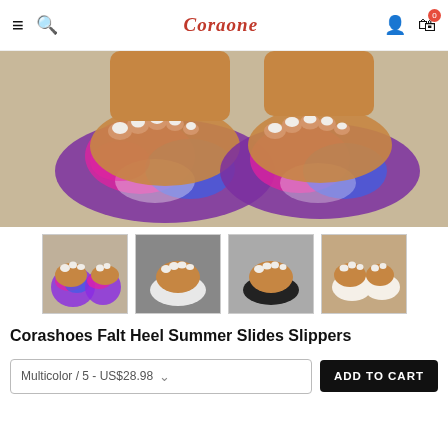Coraone
[Figure (photo): Close-up photo of a person wearing tie-dye pink and blue flat slide sandals on a light concrete surface, showing both feet from above]
[Figure (photo): Thumbnail 1: tie-dye multicolor slide slippers on feet]
[Figure (photo): Thumbnail 2: white flat slide slippers on feet]
[Figure (photo): Thumbnail 3: black flat slide slippers on feet]
[Figure (photo): Thumbnail 4: white/beige flat slide slippers on feet]
Corashoes Falt Heel Summer Slides Slippers
Multicolor / 5 - US$28.98
ADD TO CART